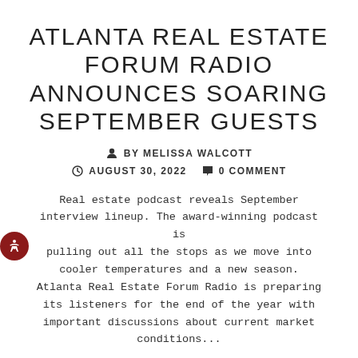ATLANTA REAL ESTATE FORUM RADIO ANNOUNCES SOARING SEPTEMBER GUESTS
BY MELISSA WALCOTT
AUGUST 30, 2022   0 COMMENT
Real estate podcast reveals September interview lineup. The award-winning podcast is pulling out all the stops as we move into cooler temperatures and a new season. Atlanta Real Estate Forum Radio is preparing its listeners for the end of the year with important discussions about current market conditions...